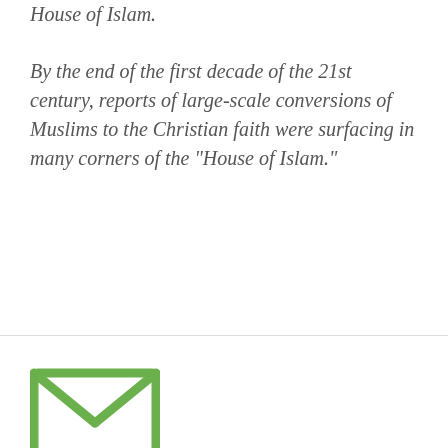House of Islam.
By the end of the first decade of the 21st century, reports of large-scale conversions of Muslims to the Christian faith were surfacing in many corners of the "House of Islam."
[Figure (illustration): Green envelope/email icon — square envelope outline with an X flap pattern inside, in green color.]
Get Blog Updates By Email
Subscribe by email and we'll send you a message whenever a new story is posted.
SUBSCRIBE